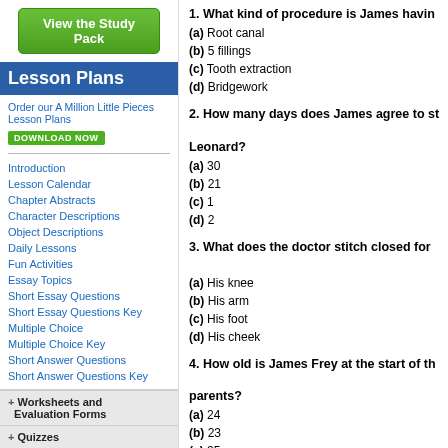View the Study Pack
Lesson Plans
Order our A Million Little Pieces Lesson Plans
DOWNLOAD NOW
Introduction
Lesson Calendar
Chapter Abstracts
Character Descriptions
Object Descriptions
Daily Lessons
Fun Activities
Essay Topics
Short Essay Questions
Short Essay Questions Key
Multiple Choice
Multiple Choice Key
Short Answer Questions
Short Answer Questions Key
+ Worksheets and Evaluation Forms
+ Quizzes
1. What kind of procedure is James having?
(a) Root canal
(b) 5 fillings
(c) Tooth extraction
(d) Bridgework
2. How many days does James agree to stay with Leonard?
(a) 30
(b) 21
(c) 1
(d) 2
3. What does the doctor stitch closed for James?
(a) His knee
(b) His arm
(c) His foot
(d) His cheek
4. How old is James Frey at the start of the book when he arrives to his parents?
(a) 24
(b) 23
(c) 25
(d) 22
5. What is James missing when he lands at the airport?
(a) Phone
(b) Shoes
(c) Wallet
(d) Shirt